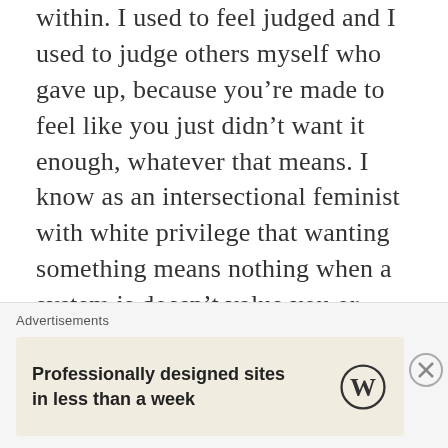within. I used to feel judged and I used to judge others myself who gave up, because you're made to feel like you just didn't want it enough, whatever that means. I know as an intersectional feminist with white privilege that wanting something means nothing when a system is doesn't value you or others who don't fit a particular mould. And also working in museums doesn't make you more valuable and it doesn't make you a better person! (Going to refer back to this next time it gets me down) I could go on about this forever
Advertisements
Professionally designed sites in less than a week